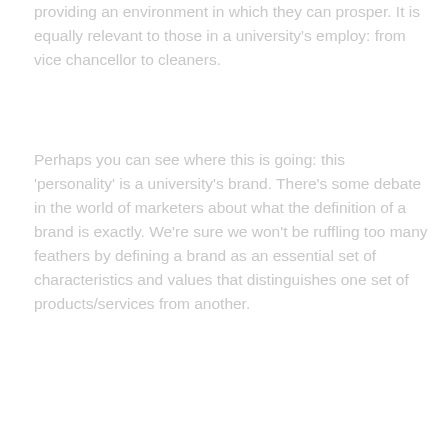providing an environment in which they can prosper. It is equally relevant to those in a university's employ: from vice chancellor to cleaners.
Perhaps you can see where this is going: this 'personality' is a university's brand. There's some debate in the world of marketers about what the definition of a brand is exactly. We're sure we won't be ruffling too many feathers by defining a brand as an essential set of characteristics and values that distinguishes one set of products/services from another.